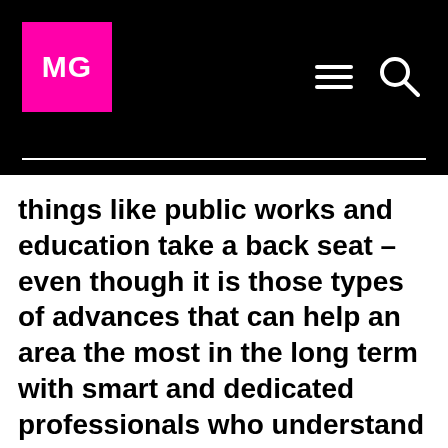MG
things like public works and education take a back seat – even though it is those types of advances that can help an area the most in the long term with smart and dedicated professionals who understand the importance of skills to improve the quality of life throughout the entire area. While still in the shadow of a drought from 30 years ago, an even worse one is currently afflicting Ethiopia and charities are racing to attempt and prevent the level of pain and